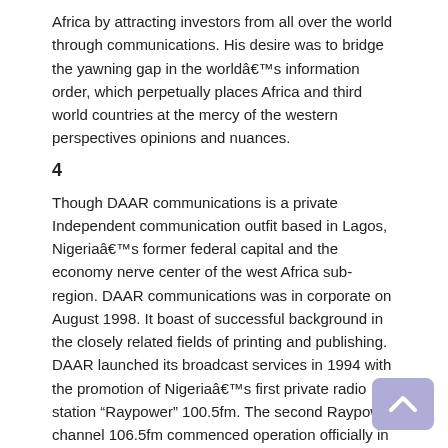Africa by attracting investors from all over the world through communications. His desire was to bridge the yawning gap in the worldâ€™s information order, which perpetually places Africa and third world countries at the mercy of the western perspectives opinions and nuances.
4
Though DAAR communications is a private Independent communication outfit based in Lagos, Nigeriaâ€™s former federal capital and the economy nerve center of the west Africa sub-region. DAAR communications was in corporate on August 1998. It boast of successful background in the closely related fields of printing and publishing. DAAR launched its broadcast services in 1994 with the promotion of Nigeriaâ€™s first private radio station â€œRaypowerâ€ 100.5fm. The second Raypower channel 106.5fm commenced operation officially in April 1999, before then, DAAR communications had launched a 24hours global television services.
Africa Independent Television (AIT) has the philosophy that use geared towards the promotion of Africa values and traditions of the